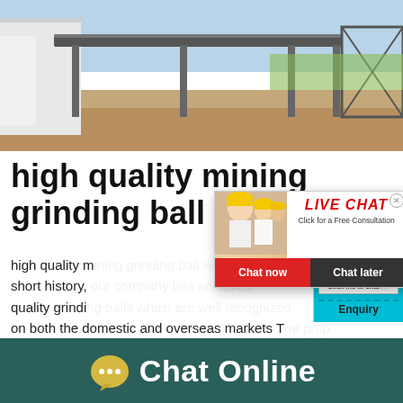[Figure (photo): Industrial mining/grinding machinery at an outdoor site with conveyor belts, metal structures, and earthen ground under blue sky.]
high quality mining grinding ball mill for
high quality m... short history, quality grinding... on both the domestic and overseas markets T... erties of steel balls produced by energosteel a... y reduce the consumption of grinding balls an...
[Figure (screenshot): Live Chat popup overlay with construction workers photo, red LIVE CHAT text, 'Click for a Free Consultation', Chat now (red) and Chat later (dark) buttons.]
[Figure (infographic): Customer satisfaction meter widget on cyan background with smiley faces and gauge dial, and 'Click me to chat >>' button and 'Enquiry' label.]
[Figure (infographic): Bottom dark teal bar with yellow chat bubble icon and white 'Chat Online' text.]